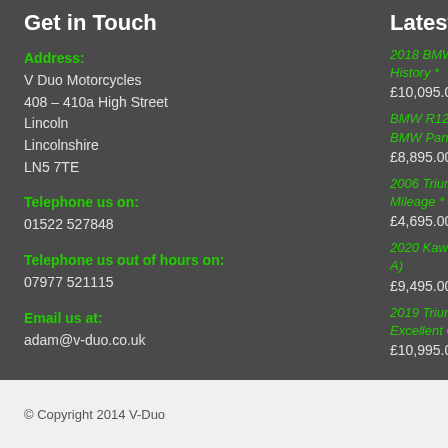Get in Touch
Address:
V Duo Motorcycles
408 – 410a High Street
Lincoln
Lincolnshire
LN5 7TE
Telephone us on:
01522 527848
Telephone us out of hours on:
07977 521115
Email us at:
adam@v-duo.co.uk
Latest Bike
2018 BMW R NineT Sp... History *
£10,095.00
BMW R1200 GS TE Ex... BMW Panniers *
£8,895.00
2006 Triumph Dayto... Mileage *
£4,695.00
2020 Kawasaki NINJA... A)
£9,495.00
2019 Triumph Speed T... Excellent Condition *
£10,995.00
© Copyright 2014 V-Duo